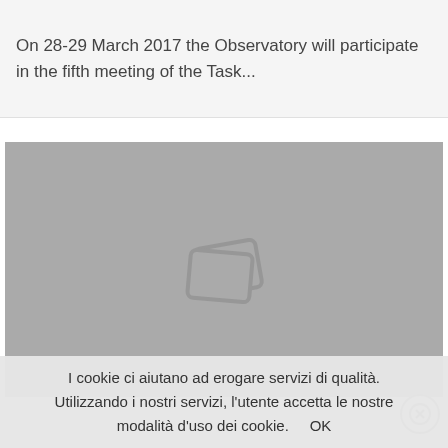On 28-29 March 2017 the Observatory will participate in the fifth meeting of the Task...
[Figure (photo): Placeholder image area with gray background and image placeholder icon in the center]
I cookie ci aiutano ad erogare servizi di qualità. Utilizzando i nostri servizi, l'utente accetta le nostre modalità d'uso dei cookie.   OK